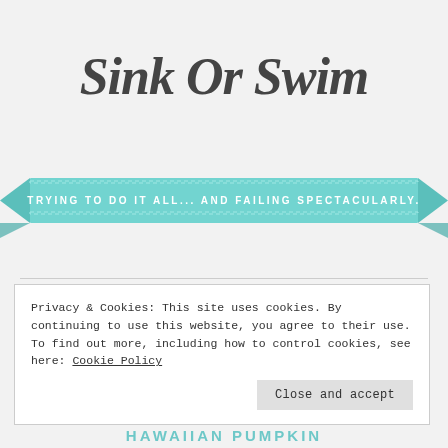Sink Or Swim
[Figure (illustration): Teal/turquoise decorative ribbon banner with text: TRYING TO DO IT ALL... AND FAILING SPECTACULARLY.]
Privacy & Cookies: This site uses cookies. By continuing to use this website, you agree to their use.
To find out more, including how to control cookies, see here: Cookie Policy
Close and accept
HAWAIIAN PUMPKIN